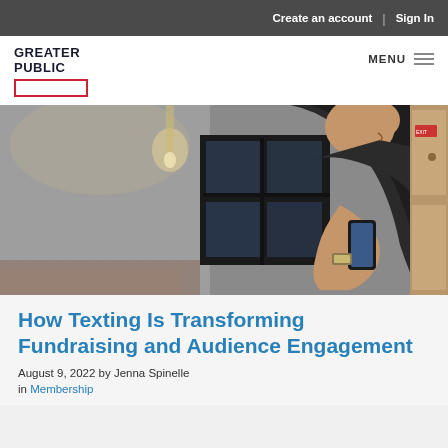Create an account | Sign In
GREATER PUBLIC
[Figure (photo): A man in a dark shirt looking down at his smartphone, standing in a cafe or indoor setting with industrial-style windows in the background.]
How Texting Is Transforming Fundraising and Audience Engagement
August 9, 2022 by Jenna Spinelle
in Membership